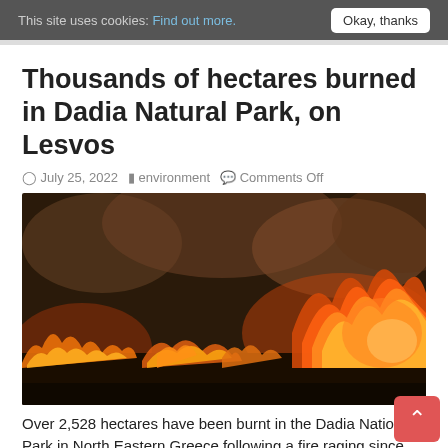This site uses cookies: Find out more. Okay, thanks
Thousands of hectares burned in Dadia Natural Park, on Lesvos
July 25, 2022  environment  Comments Off
[Figure (photo): Wildfire burning in Dadia National Park, showing intense flames and smoke against a dark sky]
Over 2,528 hectares have been burnt in the Dadia National Park in North Eastern Greece following a fire raging since July